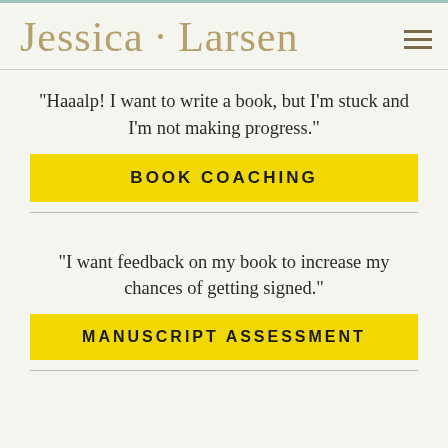Jessica · Larsen
"Haaalp! I want to write a book, but I'm stuck and I'm not making progress."
BOOK COACHING
"I want feedback on my book to increase my chances of getting signed."
MANUSCRIPT ASSESSMENT